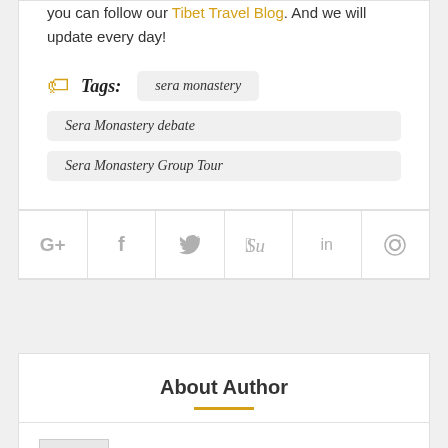you can follow our Tibet Travel Blog. And we will update every day!
Tags: sera monastery
Sera Monastery debate
Sera Monastery Group Tour
[Figure (infographic): Social sharing icons row: Google+, Facebook, Twitter, StumbleUpon, LinkedIn, Pinterest]
About Author
Helen Jiao